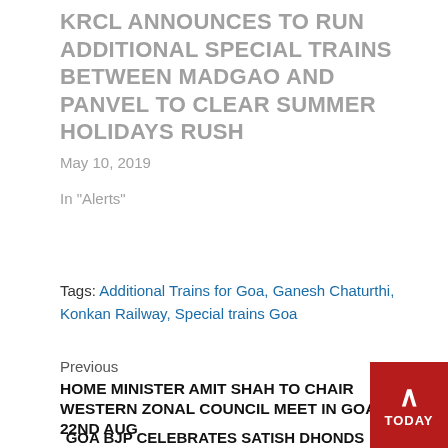KRCL ANNOUNCES TO RUN ADDITIONAL SPECIAL TRAINS BETWEEN MADGAO AND PANVEL TO CLEAR SUMMER HOLIDAYS RUSH
May 10, 2019
In "Alerts"
Tags: Additional Trains for Goa, Ganesh Chaturthi, Konkan Railway, Special trains Goa
Previous
HOME MINISTER AMIT SHAH TO CHAIR WESTERN ZONAL COUNCIL MEET IN GOA ON 22ND AUG
GOA BJP CELEBRATES SATISH DHONDS BIRT
TODAY